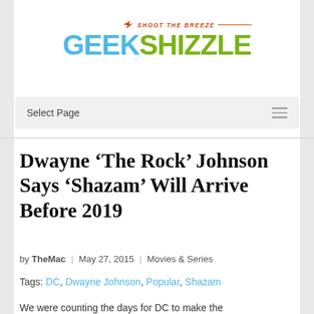[Figure (logo): GeekShizzle logo with 'Shoot The Breeze' tagline above, gun icon, colorful text logo with blue 'GEEK' and green 'SHIZZLE']
Select Page
Dwayne ‘The Rock’ Johnson Says ‘Shazam’ Will Arrive Before 2019
by TheMac | May 27, 2015 | Movies & Series
Tags: DC, Dwayne Johnson, Popular, Shazam
We were counting the days for DC to make the